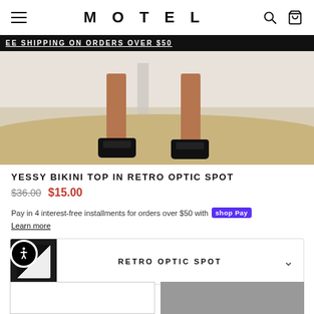MOTEL
EE SHIPPING ON ORDERS OVER $50
[Figure (photo): Model's legs standing on sand wearing black platform sandals]
YESSY BIKINI TOP IN RETRO OPTIC SPOT
$36.00  $15.00
Pay in 4 interest-free installments for orders over $50 with Shop Pay
Learn more
RETRO OPTIC SPOT